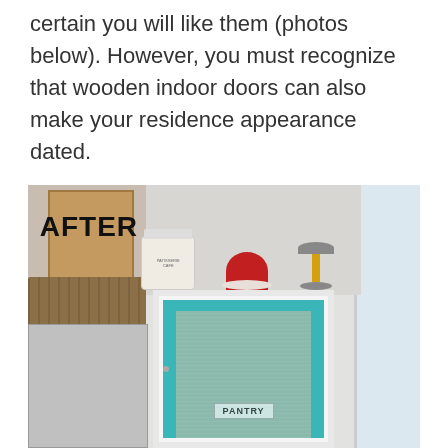certain you will like them (photos below). However, you must recognize that wooden indoor doors can also make your residence appearance dated.
[Figure (photo): A kitchen interior showing a pantry door painted teal/turquoise with a frosted glass panel labeled 'PANTRY'. The scene is labeled 'AFTER' in bold black text. On top of a header above the door sit decorative canisters and objects. To the left are wooden cabinets and a wicker basket on top of a refrigerator. To the right is a window.]